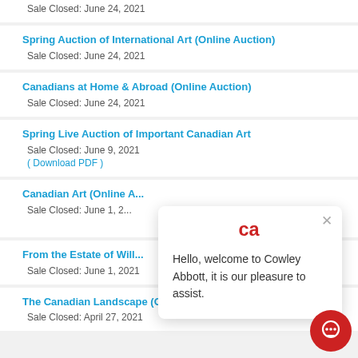Sale Closed: June 24, 2021
Spring Auction of International Art (Online Auction)
Sale Closed: June 24, 2021
Canadians at Home & Abroad (Online Auction)
Sale Closed: June 24, 2021
Spring Live Auction of Important Canadian Art
Sale Closed: June 9, 2021
( Download PDF )
Canadian Art (Online A...
Sale Closed: June 1, 2...
From the Estate of Will...
Sale Closed: June 1, 2021
The Canadian Landscape (Online Auction)
Sale Closed: April 27, 2021
Hello, welcome to Cowley Abbott, it is our pleasure to assist.